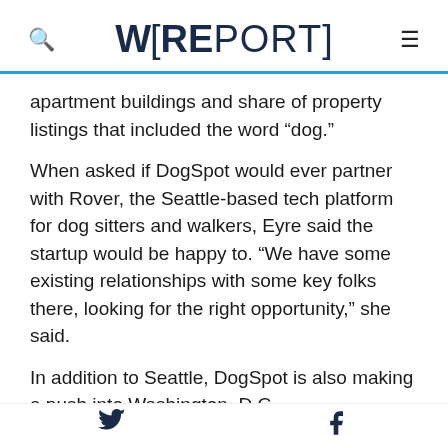W[REPORT]
apartment buildings and share of property listings that included the word “dog.”
When asked if DogSpot would ever partner with Rover, the Seattle-based tech platform for dog sitters and walkers, Eyre said the startup would be happy to. “We have some existing relationships with some key folks there, looking for the right opportunity,” she said.
In addition to Seattle, DogSpot is also making a push into Washington, D.C.
The startup initially launched as Dog Parker, but
✓ f